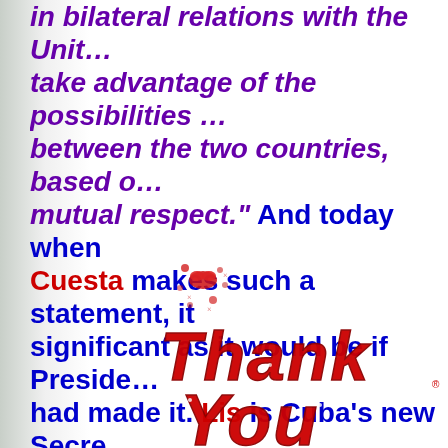in bilateral relations with the United States, take advantage of the possibilities of cooperation between the two countries, based on equality and mutual respect." And today when Ricardo Alarcon de Cuesta makes such a statement, it is not less significant as it would be if President Obama had made it. Lis is Cuba's new Secre...
[Figure (illustration): Decorative clipart of scattered heart/lips shapes and a 'Thank You' graphic in red glittery text]